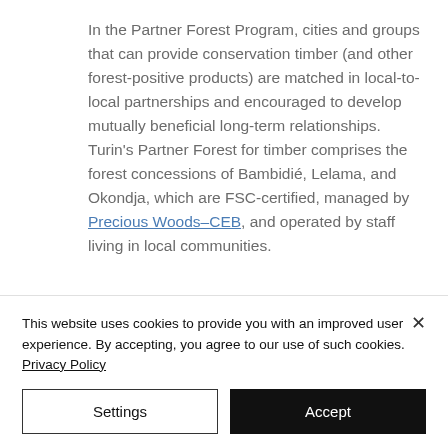In the Partner Forest Program, cities and groups that can provide conservation timber (and other forest-positive products) are matched in local-to-local partnerships and encouraged to develop mutually beneficial long-term relationships. Turin's Partner Forest for timber comprises the forest concessions of Bambidié, Lelama, and Okondja, which are FSC-certified, managed by Precious Woods–CEB, and operated by staff living in local communities.
This website uses cookies to provide you with an improved user experience. By accepting, you agree to our use of such cookies. Privacy Policy